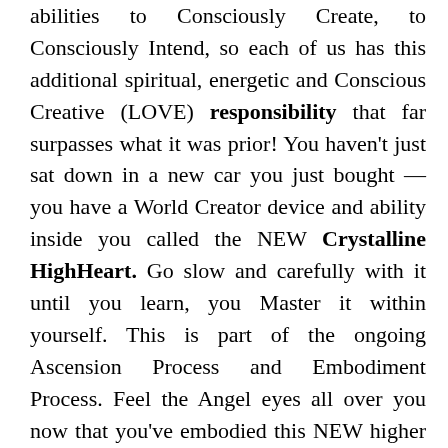abilities to Consciously Create, to Consciously Intend, so each of us has this additional spiritual, energetic and Conscious Creative (LOVE) responsibility that far surpasses what it was prior! You haven't just sat down in a new car you just bought — you have a World Creator device and ability inside you called the NEW Crystalline HighHeart. Go slow and carefully with it until you learn, you Master it within yourself. This is part of the ongoing Ascension Process and Embodiment Process. Feel the Angel eyes all over you now that you've embodied this NEW higher frequency and functioning Crystalline HighHeart. They have eyes on us now for good reasons.

Lastly, I'm going to share that I've been feeling this NEW Divine Mother Feminine Solar template energy. It is HOME to many of us, which means it has absolutely no negativity, no Team Dark, no insane, ego-based, negative, parasitic